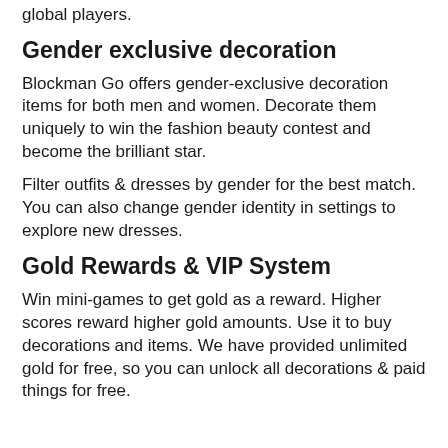global players.
Gender exclusive decoration
Blockman Go offers gender-exclusive decoration items for both men and women. Decorate them uniquely to win the fashion beauty contest and become the brilliant star.
Filter outfits & dresses by gender for the best match. You can also change gender identity in settings to explore new dresses.
Gold Rewards & VIP System
Win mini-games to get gold as a reward. Higher scores reward higher gold amounts. Use it to buy decorations and items. We have provided unlimited gold for free, so you can unlock all decorations & paid things for free.